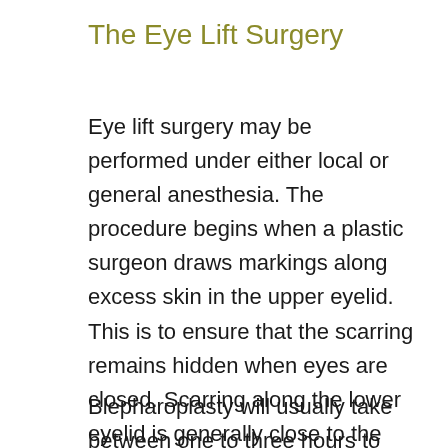The Eye Lift Surgery
Eye lift surgery may be performed under either local or general anesthesia. The procedure begins when a plastic surgeon draws markings along excess skin in the upper eyelid. This is to ensure that the scarring remains hidden when eyes are closed. Scarring along the lower eyelid is generally close to the eyelash region and will run across crease lines on the sides of the eyes after surgery.
Blepharoplasty will usually take between one to three hours to